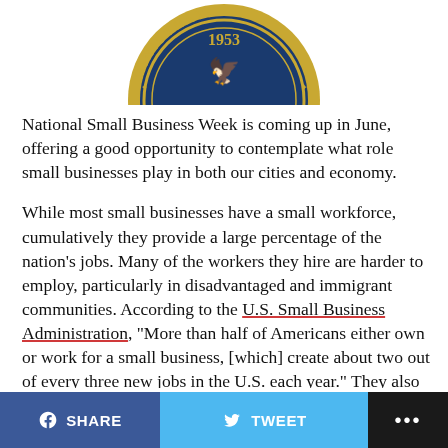[Figure (logo): Partial U.S. Small Business Administration seal (1953), showing the outer gold ring and blue interior with text MINISTRATIO and 1953]
National Small Business Week is coming up in June, offering a good opportunity to contemplate what role small businesses play in both our cities and economy.
While most small businesses have a small workforce, cumulatively they provide a large percentage of the nation’s jobs. Many of the workers they hire are harder to employ, particularly in disadvantaged and immigrant communities. According to the U.S. Small Business Administration, “More than half of Americans either own or work for a small business, [which] create about two out of every three new jobs in the U.S. each year.” They also contribute to our local economies more than national or
SHARE   TWEET   ...